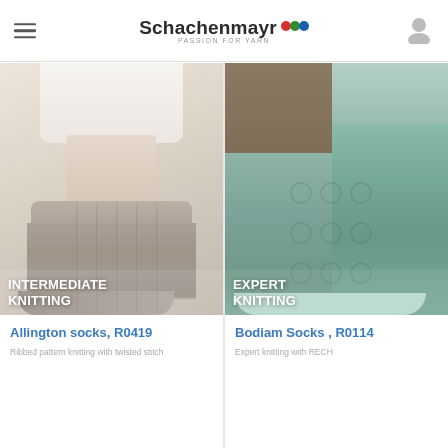Schachenmayr PASSION FOR YARN
[Figure (photo): Beige/cream knitted socks with cable pattern worn on a person's foot with white rolled-up trousers, light neutral background. Badge reads INTERMEDIATE KNITTING.]
INTERMEDIATE KNITTING
Allington socks, R0419
Ribbed pattern knitting with twisted stitch
[Figure (photo): Mint/sage green knitted socks with lace and cable pattern, worn on a person's legs against a brown/khaki trouser background. Badge reads EXPERT KNITTING.]
EXPERT KNITTING
Bodiam Socks , R0114
Expert knitting with RECH